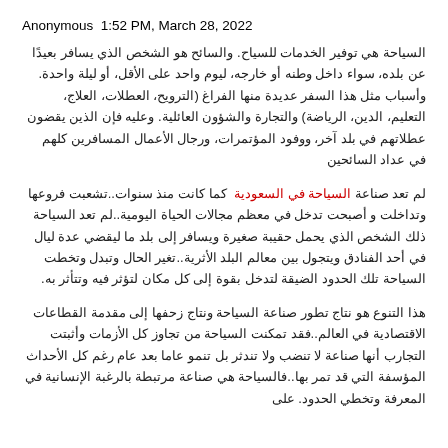Anonymous  1:52 PM, March 28, 2022
السياحة هي توفير الخدمات للسياح. والسائح هو الشخص الذي يسافر بعيدًا عن بلده، سواء داخل وطنه أو خارجه، ليوم واحد على الأقل، أو ليلة واحدة. وأسباب مثل هذا السفر عديدة منها الفراغ (الترويح، العطلات، العلاج، التعليم، الدين، الرياضة) والتجارة والشؤون العائلية. وعليه فإن الذين يقضون عطلاتهم في بلد آخر، ووفود المؤتمرات، ورجال الأعمال المسافرين كلهم في عداد السائحين
لم تعد صناعة السياحة في السعودية  كما كانت منذ سنوات..تشعبت فروعها وتداخلت و أصبحت تدخل في معظم مجالات الحياة اليومية..لم تعد السياحة ذلك الشخص الذي يحمل حقيبة صغيرة ويسافر إلى بلد ما ليقضي عدة ليال في أحد الفنادق ويتجول بين معالم البلد الأثرية..تغير الحال وتبدل وتخطت السياحة تلك الحدود الضيقة لتدخل بقوة إلى كل مكان لتؤثر فيه وتتأثر به.
هذا التنوع هو نتاج تطور صناعة السياحة ونتاج زحفها إلى مقدمة القطاعات الاقتصادية في العالم..فقد تمكنت السياحة من تجاوز كل الأزمات وأثبتت التجارب أنها صناعة لا تنضب ولا تندثر بل تنمو عاما بعد عام رغم كل الأحداث المؤسفة التي قد تمر بها..فالسياحة هي صناعة مرتبطة بالرغبة الإنسانية في المعرفة وتخطي الحدود. على